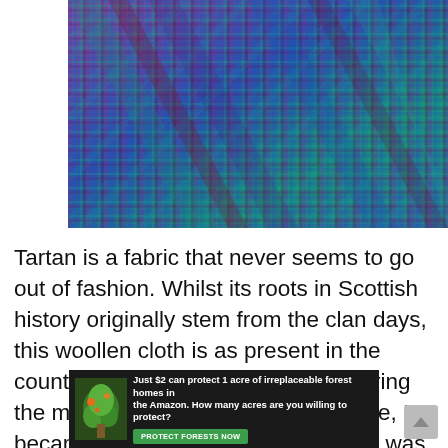[Figure (photo): Close-up photograph of colorful tartan fabric with blue, teal, purple, and dark red woven threads in a plaid pattern]
Tartan is a fabric that never seems to go out of fashion. Whilst its roots in Scottish history originally stem from the clan days, this woollen cloth is as present in the country now as it has ever been. During the months I spent on the Isle of Skye, I became very interested in tartan and was
[Figure (infographic): Advertisement banner: dark background with forest image on left, text 'Just $2 can protect 1 acre of irreplaceable forest homes in the Amazon. How many acres are you willing to protect?' with green 'PROTECT FORESTS NOW' button]